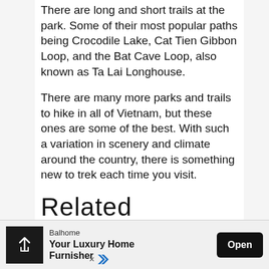There are long and short trails at the park. Some of their most popular paths being Crocodile Lake, Cat Tien Gibbon Loop, and the Bat Cave Loop, also known as Ta Lai Longhouse.
There are many more parks and trails to hike in all of Vietnam, but these ones are some of the best. With such a variation in scenery and climate around the country, there is something new to trek each time you visit.
Related Activities
[Figure (photo): Sky photo showing blue sky with white clouds]
Balhome Your Luxury Home Furnisher Open